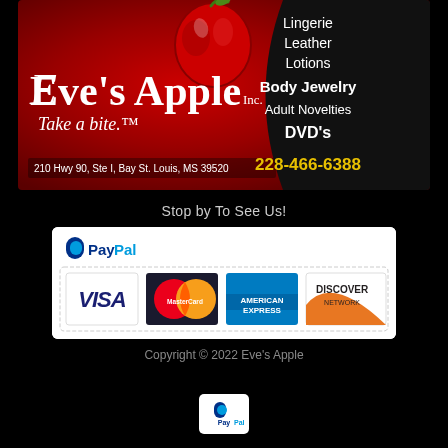[Figure (illustration): Eve's Apple Inc. banner advertisement with red background, apple logo, brand name, tagline 'Take a bite.™', address '210 Hwy 90, Ste I, Bay St. Louis, MS 39520', and right panel listing products: Lingerie, Leather, Lotions, Body Jewelry, Adult Novelties, DVD's, phone 228-466-6388]
Stop by To See Us!
[Figure (logo): PayPal accepted payment methods banner showing PayPal logo, Visa, MasterCard, American Express, Discover Network card logos on white background]
Copyright © 2022 Eve's Apple
[Figure (logo): Small PayPal logo icon on white rounded square background]